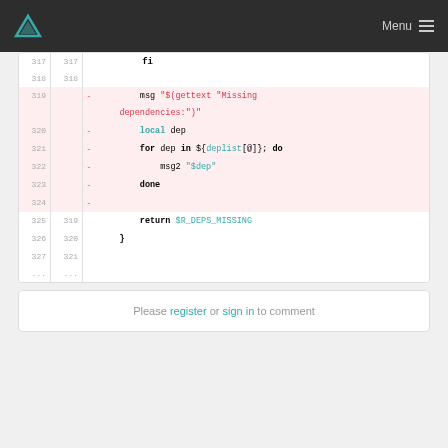Menu
[Figure (screenshot): Code diff view showing shell script lines 317-327 with deleted lines 319-324 highlighted in pink. Deleted lines include: msg "$(gettext "Missing dependencies:")", local dep, for dep in ${deplist[@]}; do, msg2 "$dep", done. Lines 325-326 show: return $R_DEPS_MISSING and }]
Please register or sign in to comment